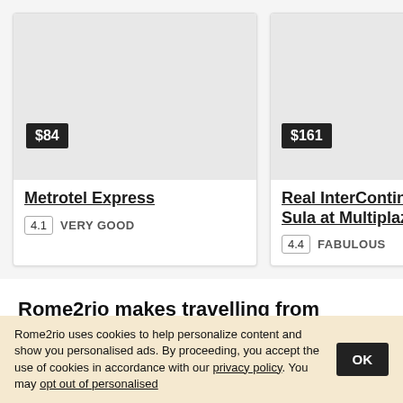[Figure (photo): Hotel card image placeholder (grey) for Metrotel Express, price badge $84]
$84
Metrotel Express
4.1  VERY GOOD
[Figure (photo): Hotel card image placeholder (grey) for Real InterContinental S Sula at Multiplaza Mall, price badge $161]
$161
Real InterContinental S Sula at Multiplaza Mall
4.4  FABULOUS
Rome2rio makes travelling from Austin to Villanueva easy.
Rome2rio is a door-to-door travel information and booking engine, helping you get to and from any location in the
Rome2rio uses cookies to help personalize content and show you personalised ads. By proceeding, you accept the use of cookies in accordance with our privacy policy. You may opt out of personalised